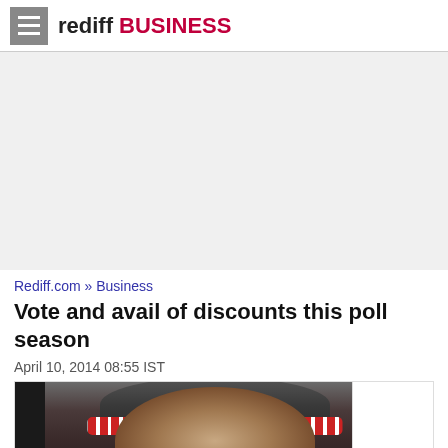rediff BUSINESS
[Figure (other): Advertisement / empty gray area]
Rediff.com » Business
Vote and avail of discounts this poll season
April 10, 2014 08:55 IST
[Figure (photo): A person wearing a woolen hat with red and white pattern, face partially visible from above]